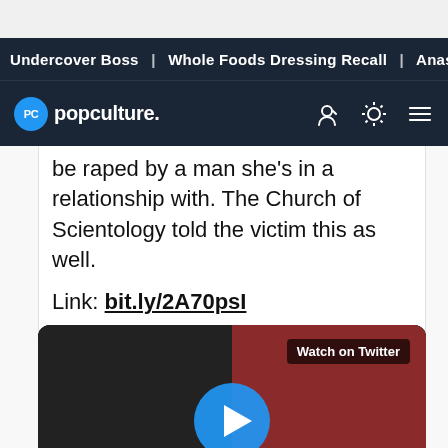Undercover Boss | Whole Foods Dressing Recall | Anastasia
popculture.
be raped by a man she's in a relationship with. The Church of Scientology told the victim this as well.
Link: bit.ly/2A70psI
[Figure (screenshot): Embedded Twitter video player showing a man in a dark t-shirt with a Watch on Twitter badge and a blue circular play button overlay]